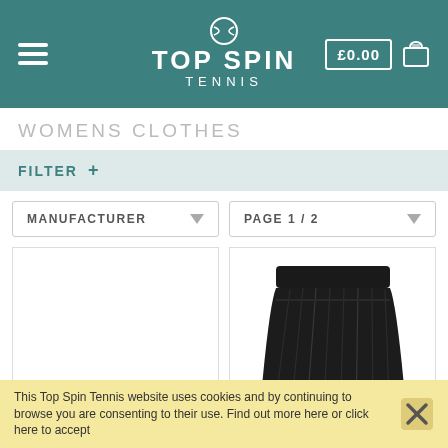TOP SPIN TENNIS | £0.00
WOMENS CLOTHES
FILTER +
MANUFACTURER
PAGE 1 / 2
[Figure (photo): Black pleated tennis skirt with white three-stripe detail on left hem, shown on white background]
This Top Spin Tennis website uses cookies and by continuing to browse you are consenting to their use. Find out more here or click here to accept